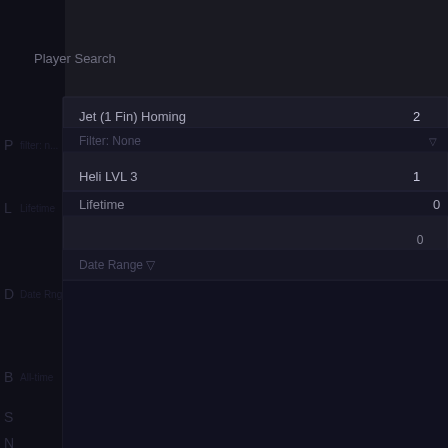Player Search
| Category | Value |
| --- | --- |
| Jet (1 Fin) Homing | 2 |
| Heli LVL 3 | 1 |
|  | 0 |
0   500   1,000   1,500   2,000   2,500
Shots Fired per Kill - Vehicles
[Figure (bar-chart): Shots Fired per Kill - Vehicles]